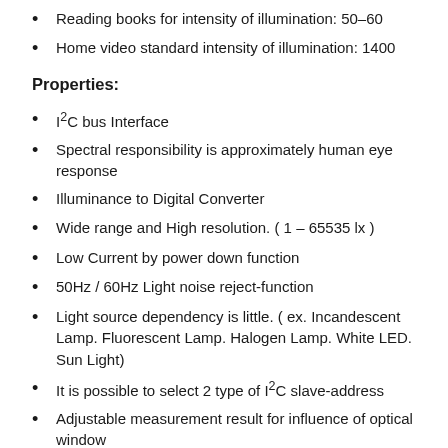Reading books for intensity of illumination: 50-60
Home video standard intensity of illumination: 1400
Properties:
I²C bus Interface
Spectral responsibility is approximately human eye response
Illuminance to Digital Converter
Wide range and High resolution. ( 1 – 65535 lx )
Low Current by power down function
50Hz / 60Hz Light noise reject-function
Light source dependency is little. ( ex. Incandescent Lamp. Fluorescent Lamp. Halogen Lamp. White LED. Sun Light)
It is possible to select 2 type of I²C slave-address
Adjustable measurement result for influence of optical window
Small measurement variation (±20%)